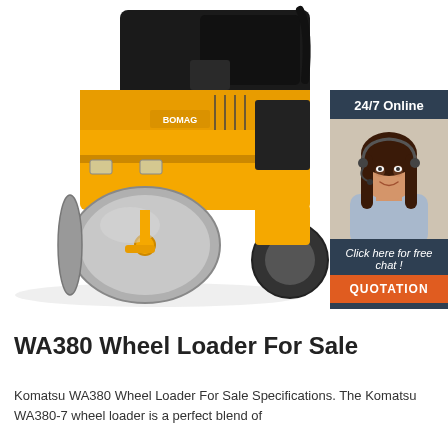[Figure (photo): Yellow road roller / compactor machine (Bomag style) photographed on white background, viewed from front-left angle showing the large steel drum roller at front, yellow body, black engine/cab area.]
[Figure (infographic): Sidebar widget with dark navy background. Header text '24/7 Online', photo of smiling woman with headset (customer service agent), italic text 'Click here for free chat !', and orange button labeled 'QUOTATION'.]
WA380 Wheel Loader For Sale
Komatsu WA380 Wheel Loader For Sale Specifications. The Komatsu WA380-7 wheel loader is a perfect blend of